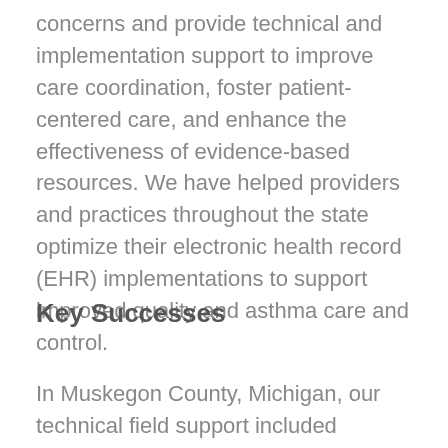concerns and provide technical and implementation support to improve care coordination, foster patient-centered care, and enhance the effectiveness of evidence-based resources. We have helped providers and practices throughout the state optimize their electronic health record (EHR) implementations to support improved quality and asthma care and control.
Key Successes
In Muskegon County, Michigan, our technical field support included several ambulatory sites